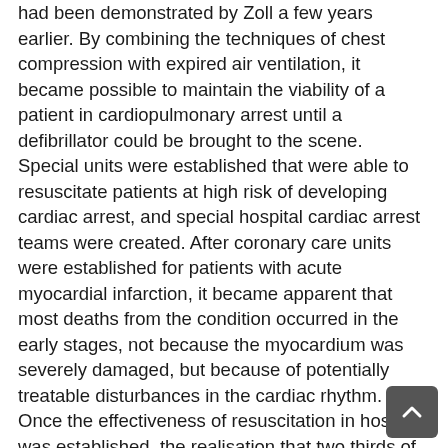had been demonstrated by Zoll a few years earlier. By combining the techniques of chest compression with expired air ventilation, it became possible to maintain the viability of a patient in cardiopulmonary arrest until a defibrillator could be brought to the scene. Special units were established that were able to resuscitate patients at high risk of developing cardiac arrest, and special hospital cardiac arrest teams were created. After coronary care units were established for patients with acute myocardial infarction, it became apparent that most deaths from the condition occurred in the early stages, not because the myocardium was severely damaged, but because of potentially treatable disturbances in the cardiac rhythm. Once the effectiveness of resuscitation in hospital was established, the realisation that two thirds of deaths from coronary heart disease occurred before hospital admission led to attempts to provide coronary care, and particularly defibrillation, in the community. The credit for this development goes to Pantridge in Belfast, who pioneered the first mobile coronary care unit staffed by a doctor and nurse. This early experience confirmed the high